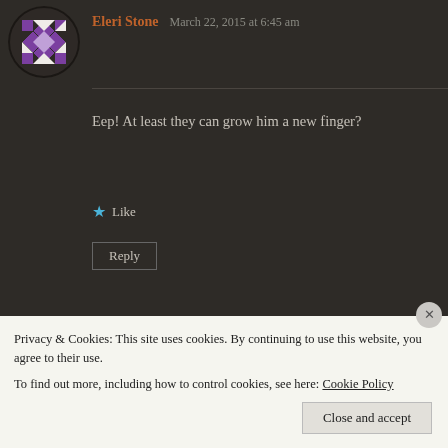[Figure (illustration): Purple and white quilt-pattern avatar for Eleri Stone]
Eleri Stone   March 22, 2015 at 6:45 am
Eep! At least they can grow him a new finger?
Like
Reply
[Figure (illustration): Green and white quilt-pattern circular avatar for Teresa Cypher]
Teresa Cypher   March 22, 2015 at 6:57 am
Yikes! Just cut it off??!! wow, rough place. I really don't like th
Privacy & Cookies: This site uses cookies. By continuing to use this website, you agree to their use.
To find out more, including how to control cookies, see here: Cookie Policy
Close and accept